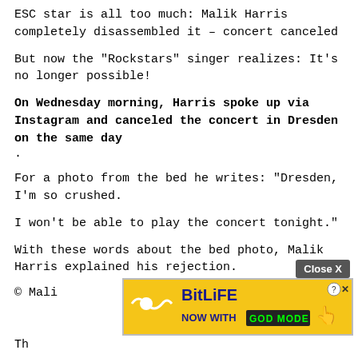ESC star is all too much: Malik Harris completely disassembled it – concert canceled
But now the "Rockstars" singer realizes: It's no longer possible!
On Wednesday morning, Harris spoke up via Instagram and canceled the concert in Dresden on the same day
.
For a photo from the bed he writes: "Dresden, I'm so crushed.
I won't be able to play the concert tonight."
With these words about the bed photo, Malik Harris explained his rejection.
[Figure (other): Close X button and BitLife advertisement banner with 'NOW WITH GOD MODE' text]
© Mali
Th